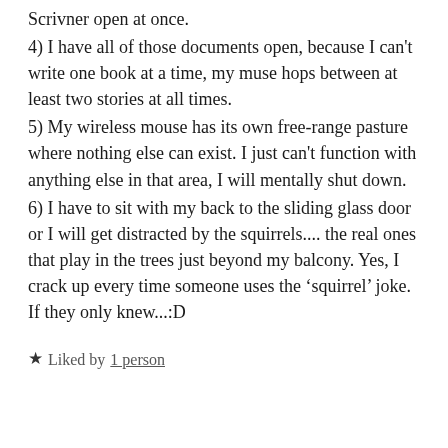Scrivner open at once.
4) I have all of those documents open, because I can't write one book at a time, my muse hops between at least two stories at all times.
5) My wireless mouse has its own free-range pasture where nothing else can exist. I just can't function with anything else in that area, I will mentally shut down.
6) I have to sit with my back to the sliding glass door or I will get distracted by the squirrels.... the real ones that play in the trees just beyond my balcony. Yes, I crack up every time someone uses the ‘squirrel’ joke. If they only knew...:D
★ Liked by 1 person